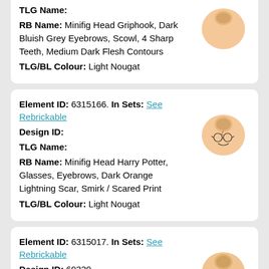TLG Name: [blank] RB Name: Minifig Head Griphook, Dark Bluish Grey Eyebrows, Scowl, 4 Sharp Teeth, Medium Dark Flesh Contours TLG/BL Colour: Light Nougat
Element ID: 6315166. In Sets: See Rebrickable Design ID: [blank] TLG Name: [blank] RB Name: Minifig Head Harry Potter, Glasses, Eyebrows, Dark Orange Lightning Scar, Smirk / Scared Print TLG/BL Colour: Light Nougat
Element ID: 6315017. In Sets: See Rebrickable Design ID: 69339 TLG Name: MINI HEAD, NO. 3313 RB Name: Minifig Head Harry Potter, Glasses, Lightning...